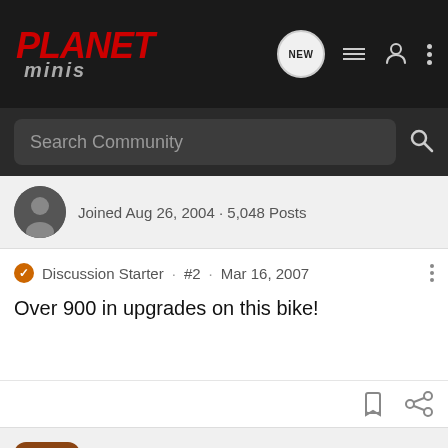PLANET minis
Search Community
Joined Aug 26, 2004 · 5,048 Posts
Discussion Starter · #2 · Mar 16, 2007
Over 900 in upgrades on this bike!
kendogg · Registered
Joined Jan 7, 2008 · 1 Posts